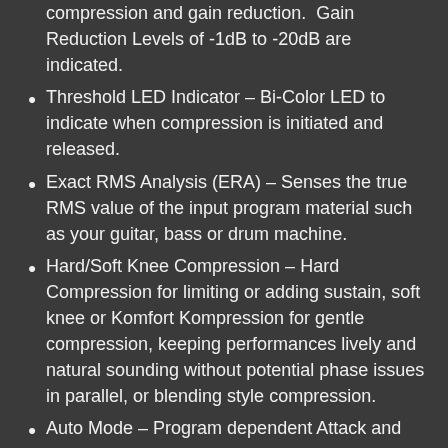compression and gain reduction.  Gain Reduction Levels of -1dB to -20dB are indicated.
Threshold LED Indicator – Bi-Color LED to indicate when compression is initiated and released.
Exact RMS Analysis (ERA) – Senses the true RMS value of the input program material such as your guitar, bass or drum machine.
Hard/Soft Knee Compression – Hard Compression for limiting or adding sustain, soft knee or Komfort Kompression for gentle compression, keeping performances lively and natural sounding without potential phase issues in parallel, or blending style compression.
Auto Mode – Program dependent Attack and Release times.  Set to Auto ON for worry-free performance and automatic Attack and